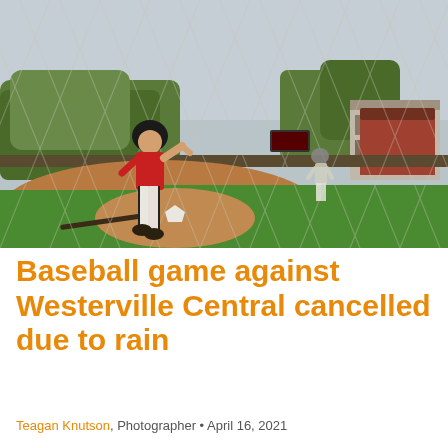[Figure (photo): A baseball player in a red and black uniform running, viewed through a chain-link fence, with another player in the background on a baseball field with green grass and trees.]
Baseball game against Westerville Central cancelled due to rain
Teagan Knutson, Photographer • April 16, 2021